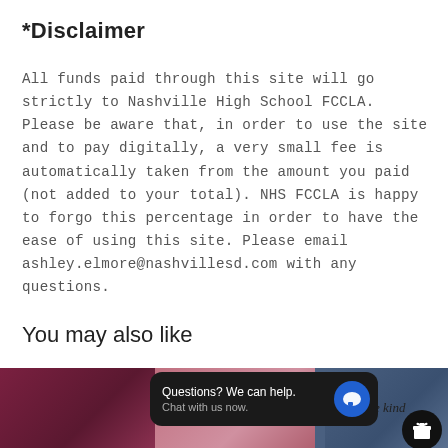*Disclaimer
All funds paid through this site will go strictly to Nashville High School FCCLA. Please be aware that, in order to use the site and to pay digitally, a very small fee is automatically taken from the amount you paid (not added to your total). NHS FCCLA is happy to forgo this percentage in order to have the ease of using this site. Please email ashley.elmore@nashvillesd.com with any questions.
You may also like
[Figure (photo): Three product photos showing clothing items: a dark maroon/burgundy top on the left, a pink item in the middle with cursive text, and a dark blue t-shirt on the right with 'be kind' text. A chat support overlay bubble reads 'Questions? We can help. Chat with us now.' with a blue chat icon. A gift icon is in the bottom right corner.]